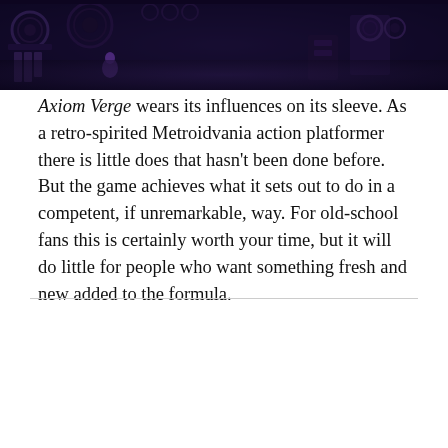[Figure (screenshot): Top banner showing dark pixel-art style game screenshot from Axiom Verge, with sci-fi mechanical/alien environment in dark purple and blue tones]
Axiom Verge wears its influences on its sleeve. As a retro-spirited Metroidvania action platformer there is little does that hasn't been done before. But the game achieves what it sets out to do in a competent, if unremarkable, way. For old-school fans this is certainly worth your time, but it will do little for people who want something fresh and new added to the formula.
[Figure (screenshot): Embedded video player showing a black screen with a loading spinner at the bottom, on a light gray background]